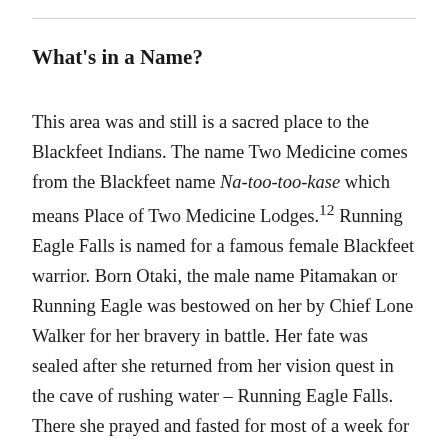What's in a Name?
This area was and still is a sacred place to the Blackfeet Indians. The name Two Medicine comes from the Blackfeet name Na-too-too-kase which means Place of Two Medicine Lodges.¹² Running Eagle Falls is named for a famous female Blackfeet warrior. Born Otaki, the male name Pitamakan or Running Eagle was bestowed on her by Chief Lone Walker for her bravery in battle. Her fate was sealed after she returned from her vision quest in the cave of rushing water – Running Eagle Falls. There she prayed and fasted for most of a week for